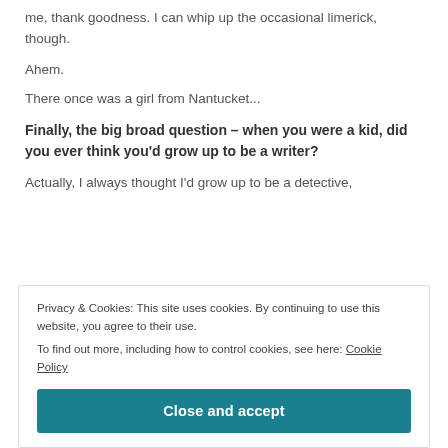me, thank goodness. I can whip up the occasional limerick, though.
Ahem.
There once was a girl from Nantucket...
Finally, the big broad question – when you were a kid, did you ever think you'd grow up to be a writer?
Actually, I always thought I'd grow up to be a detective,
Privacy & Cookies: This site uses cookies. By continuing to use this website, you agree to their use.
To find out more, including how to control cookies, see here: Cookie Policy
Close and accept